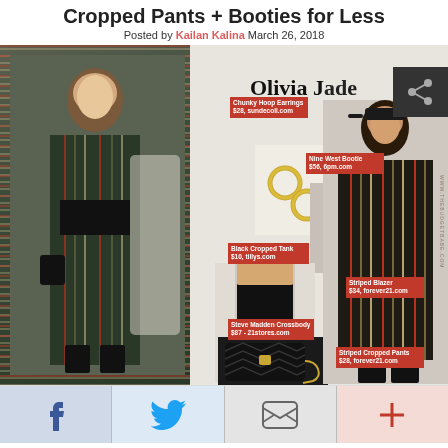Cropped Pants + Booties for Less
Posted by Kailan Kalina March 26, 2018
[Figure (photo): Fashion collage showing Olivia Jade wearing a striped blazer and cropped pants with black booties, alongside product shots of similar items for less: Chunky Hoop Earrings $28 sundecoll.com, Nine West Bootie $56 6pm.com, Black Cropped Tank $10 tillys.com, Steve Madden Crossbody $87 - 21stores.com, Striped Blazer $34 forever21.com, Striped Cropped Pants $28 forever21.com]
Facebook share, Twitter share, Email share, Plus share buttons